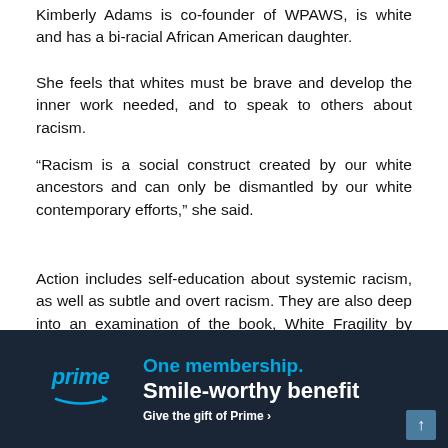Kimberly Adams is co-founder of WPAWS, is white and has a bi-racial African American daughter.
She feels that whites must be brave and develop the inner work needed, and to speak to others about racism.
“Racism is a social construct created by our white ancestors and can only be dismantled by our white contemporary efforts,” she said.
Action includes self-education about systemic racism, as well as subtle and overt racism. They are also deep into an examination of the book, White Fragility by Robin DiAngelo, which helps break down racism into easily understandable concepts.
[Figure (infographic): Amazon Prime advertisement banner with dark navy background. Shows 'prime' logo in blue italic text with Amazon arrow beneath, and text 'One membership. Smile-worthy benefit' and 'Give the gift of Prime >' in white and blue.]